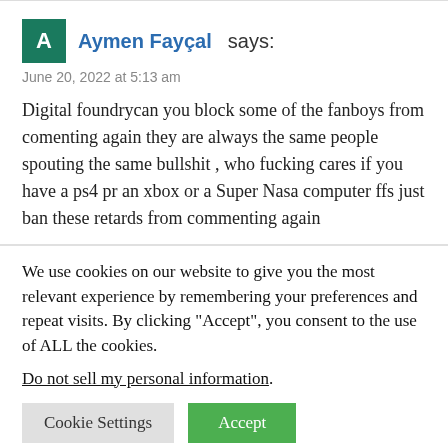A  Aymen Fayçal  says:
June 20, 2022 at 5:13 am
Digital foundrycan you block some of the fanboys from comenting again they are always the same people spouting the same bullshit , who fucking cares if you have a ps4 pr an xbox or a Super Nasa computer ffs just ban these retards from commenting again
We use cookies on our website to give you the most relevant experience by remembering your preferences and repeat visits. By clicking “Accept”, you consent to the use of ALL the cookies.
Do not sell my personal information.
Cookie Settings  Accept